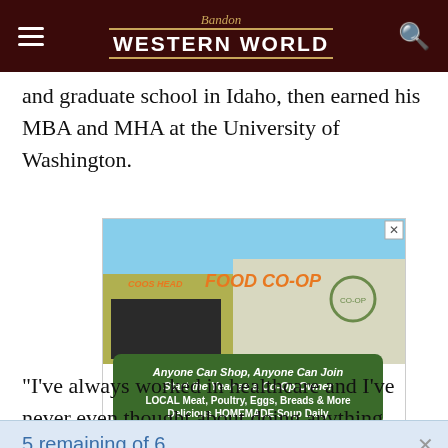Bandon Western World
and graduate school in Idaho, then earned his MBA and MHA at the University of Washington.
[Figure (photo): Advertisement for Coos Head Food Co-Op showing the storefront with text 'Anyone Can Shop, Anyone Can Join / Start the Year as a Co-Op Owner / LOCAL Meat, Poultry, Eggs, Breads & More / Delicious HOMEMADE Soup Daily']
5 remaining of 6
Thank you for reading! Please support our site.
SUBSCRIBE NOW!
"I've always worked in healthcare and I've never even thought about doing anything else," Suksi said.